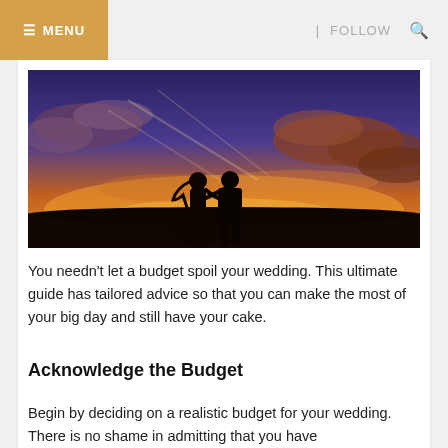≡ MENU    ᐊ FOLLOW    🔍
[Figure (photo): Silhouette of a bride and groom holding hands at sunset, with dramatic orange and purple sky and clouds in the background.]
You needn't let a budget spoil your wedding. This ultimate guide has tailored advice so that you can make the most of your big day and still have your cake.
Acknowledge the Budget
Begin by deciding on a realistic budget for your wedding. There is no shame in admitting that you have